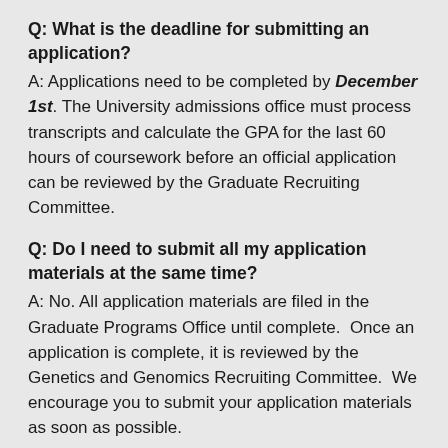Q: What is the deadline for submitting an application?
A: Applications need to be completed by December 1st. The University admissions office must process transcripts and calculate the GPA for the last 60 hours of coursework before an official application can be reviewed by the Graduate Recruiting Committee.
Q: Do I need to submit all my application materials at the same time?
A: No. All application materials are filed in the Graduate Programs Office until complete.  Once an application is complete, it is reviewed by the Genetics and Genomics Recruiting Committee.  We encourage you to submit your application materials as soon as possible.
Q: How will my application be evaluated?